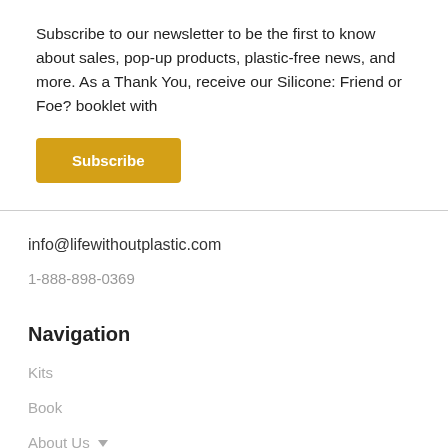Subscribe to our newsletter to be the first to know about sales, pop-up products, plastic-free news, and more. As a Thank You, receive our Silicone: Friend or Foe? booklet with
Subscribe
info@lifewithoutplastic.com
1-888-898-0369
Navigation
Kits
Book
About Us